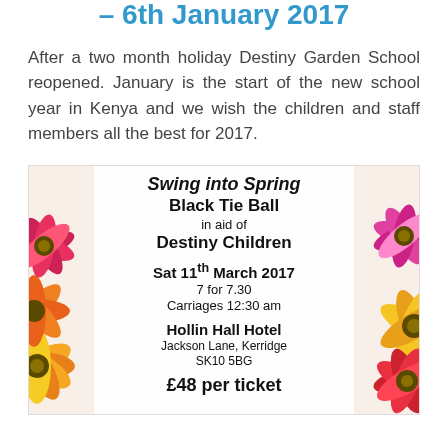– 6th January 2017
After a two month holiday Destiny Garden School reopened. January is the start of the new school year in Kenya and we wish the children and staff members all the best for 2017.
[Figure (illustration): Promotional flyer for Swing into Spring Black Tie Ball in aid of Destiny Children, featuring colorful flower decorations on the left and right borders. Text details: Sat 11th March 2017, 7 for 7.30, Carriages 12:30 am, Hollin Hall Hotel, Jackson Lane Kerridge SK10 5BG, £48 per ticket.]